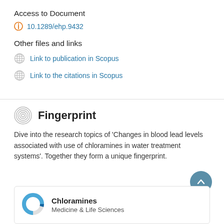Access to Document
10.1289/ehp.9432
Other files and links
Link to publication in Scopus
Link to the citations in Scopus
Fingerprint
Dive into the research topics of 'Changes in blood lead levels associated with use of chloramines in water treatment systems'. Together they form a unique fingerprint.
Chloramines
Medicine & Life Sciences